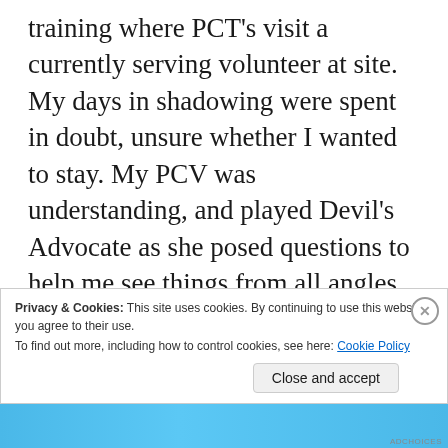training where PCT's visit a currently serving volunteer at site. My days in shadowing were spent in doubt, unsure whether I wanted to stay. My PCV was understanding, and played Devil's Advocate as she posed questions to help me see things from all angles. Even though my turn to host a PCT is months away, I find myself examining my life in Jamaica and wondering what questions or comments she'll have. Will my deep bushy lifestyle excite her, or turn her off? How will she feel about my frigid showers?
Privacy & Cookies: This site uses cookies. By continuing to use this website, you agree to their use.
To find out more, including how to control cookies, see here: Cookie Policy
Close and accept